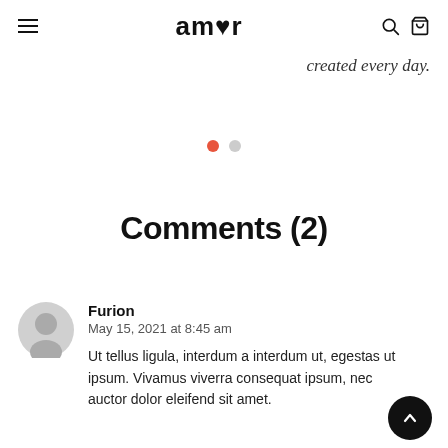amor [navigation header with hamburger menu, brand logo, search and bag icons]
created every day.
[Figure (other): Carousel pagination dots: one active red dot and one inactive grey dot]
Comments (2)
Furion
May 15, 2021 at 8:45 am

Ut tellus ligula, interdum a interdum ut, egestas ut ipsum. Vivamus viverra consequat ipsum, nec auctor dolor eleifend sit amet.